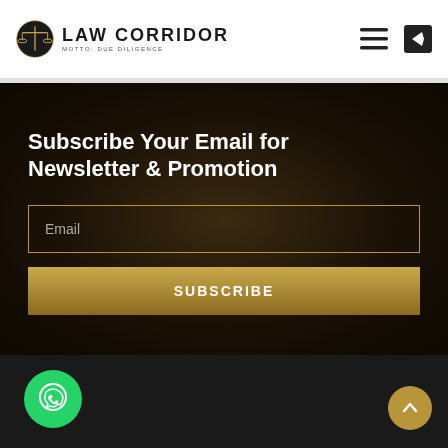LAW CORRIDOR
Subscribe Your Email for Newsletter & Promotion
Email
SUBSCRIBE
[Figure (logo): Law Corridor logo with scales of justice icon and text]
[Figure (other): WhatsApp contact button (green circle with phone/chat icon)]
[Figure (other): Scroll-to-top button (gold/tan circle with upward chevron)]